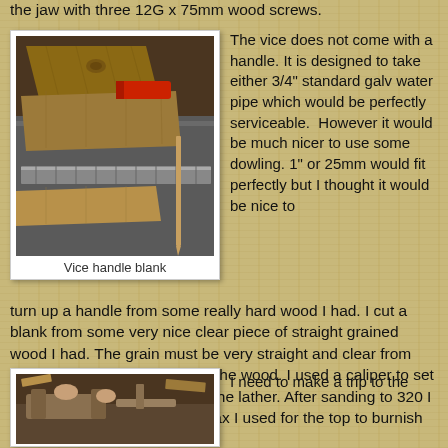the jaw with three 12G x 75mm wood screws.
[Figure (photo): Photo of wooden planks and pieces stacked together, showing wood grain and a red handled tool, described as vice handle blank]
Vice handle blank
The vice does not come with a handle. It is designed to take either 3/4" standard galv water pipe which would be perfectly serviceable. However it would be much nicer to use some dowling. 1" or 25mm would fit perfectly but I thought it would be nice to turn up a handle from some really hard wood I had. I cut a blank from some very nice clear piece of straight grained wood I had. The grain must be very straight and clear from any defects that may weaken the wood. I used a caliper to set the diameter and turned it on the lather. After sanding to 320 I used the same home made wax I used for the top to burnish the wood.
[Figure (photo): Photo of workshop scene with woodworking tools and a lathe]
I need to make a trip to the